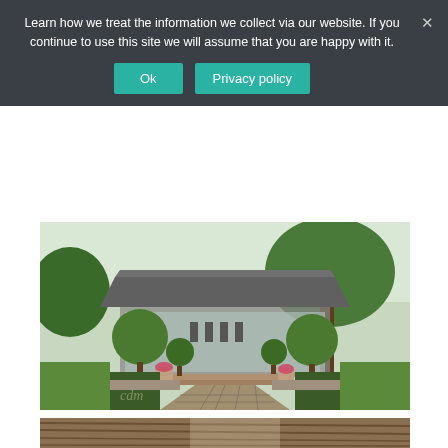Learn how we treat the information we collect via our website. If you continue to use this site we will assume that you are happy with it.
[Figure (other): Cookie consent banner with Ok and Privacy policy buttons on dark grey background]
[Figure (photo): Outdoor garden venue with a pavilion building featuring a slate roof, glass walls, topiary round shrubs on either side, a brick pathway leading to steps up to the pavilion, surrounded by lush green gardens and large trees. A watermark 'cdm' is visible in the lower left.]
[Figure (photo): Partial view of a thatched roof interior or exterior venue space]